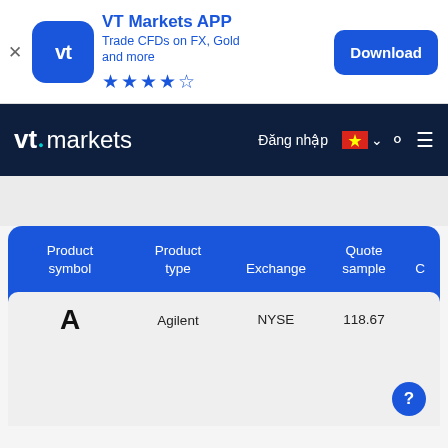[Figure (screenshot): VT Markets APP download banner with app icon (blue rounded square with 'vt' text), app name 'VT Markets APP', subtitle 'Trade CFDs on FX, Gold and more', star rating (4.5 stars), and a blue Download button. X close button on the left.]
vt markets — Đăng nhập — Vietnam flag — menu icons
| Product symbol | Product type | Exchange | Quote sample |  |
| --- | --- | --- | --- | --- |
| A | Agilent | NYSE | 118.67 |  |